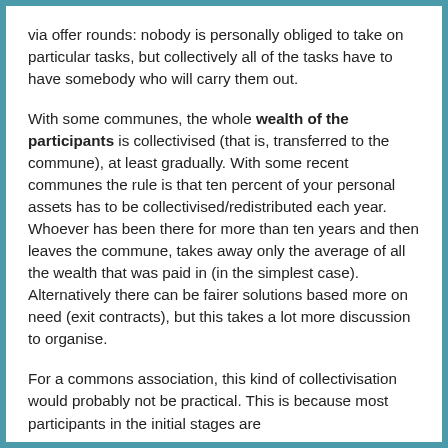via offer rounds: nobody is personally obliged to take on particular tasks, but collectively all of the tasks have to have somebody who will carry them out.
With some communes, the whole wealth of the participants is collectivised (that is, transferred to the commune), at least gradually. With some recent communes the rule is that ten percent of your personal assets has to be collectivised/redistributed each year. Whoever has been there for more than ten years and then leaves the commune, takes away only the average of all the wealth that was paid in (in the simplest case). Alternatively there can be fairer solutions based more on need (exit contracts), but this takes a lot more discussion to organise.
For a commons association, this kind of collectivisation would probably not be practical. This is because most participants in the initial stages are